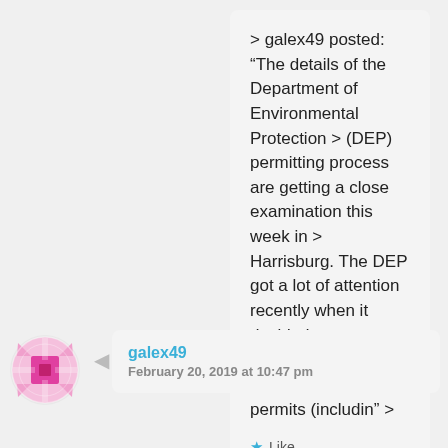> galex49 posted: “The details of the Department of Environmental Protection > (DEP) permitting process are getting a close examination this week in > Harrisburg. The DEP got a lot of attention recently when it decided to stop > processing Sunoco’s environmental permits (includin” >
Like
Reply
[Figure (illustration): Pink and white decorative circular avatar icon with geometric pattern]
galex49
February 20, 2019 at 10:47 pm